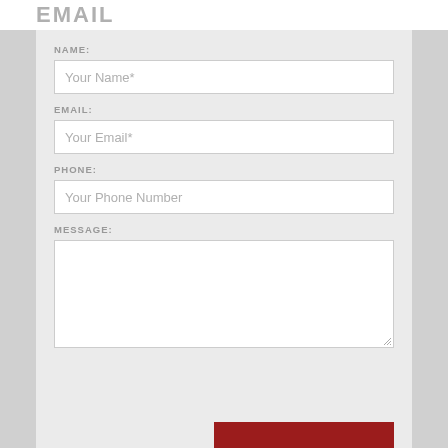EMAIL
NAME:
Your Name*
EMAIL:
Your Email*
PHONE:
Your Phone Number
MESSAGE: